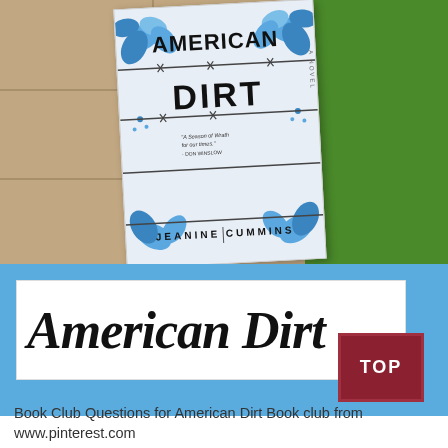[Figure (photo): Photo of the book 'American Dirt' by Jeanine Cummins placed on stone pavers next to green grass. The book cover is white with blue floral designs and barbed wire lines, showing the title 'American Dirt' and author name 'Jeanine Cummins'.]
American Dirt
Book Club Questions for American Dirt Book club from www.pinterest.com